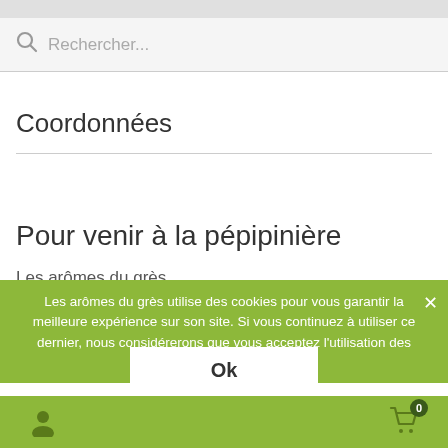[Figure (screenshot): Search bar with magnifying glass icon and placeholder text 'Rechercher...' on gray background]
Coordonnées
Pour venir à la pépipinière
Les arômes du grès
3100 route de Roquemaure
84100 ORANGE
Tel: 06 00 00 00 00
Les arômes du grès utilise des cookies pour vous garantir la meilleure expérience sur son site. Si vous continuez à utiliser ce dernier, nous considérerons que vous acceptez l'utilisation des cookies.
Ok